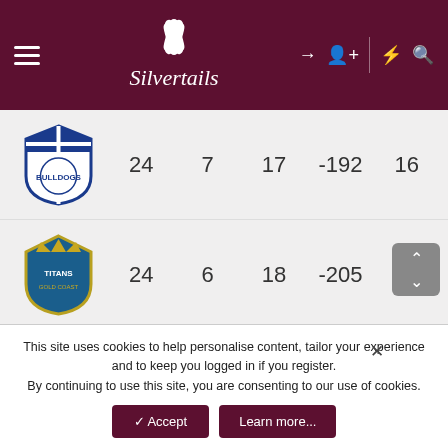Silvertails
| Team | P | W | L | Diff | Pts |
| --- | --- | --- | --- | --- | --- |
| Bulldogs | 24 | 7 | 17 | -192 | 16 |
| Titans | 24 | 6 | 18 | -205 | 14 |
| Knights | 24 | 6 | 18 | -290 | 14 |
| Warriors | 24 | 6 | 18 | -292 | 14 |
This site uses cookies to help personalise content, tailor your experience and to keep you logged in if you register. By continuing to use this site, you are consenting to our use of cookies.